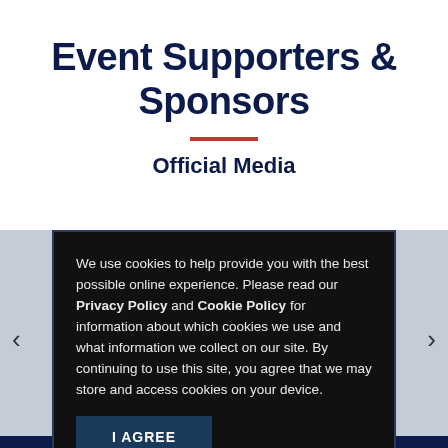Event Supporters & Sponsors
Official Media
We use cookies to help provide you with the best possible online experience. Please read our Privacy Policy and Cookie Policy for information about which cookies we use and what information we collect on our site. By continuing to use this site, you agree that we may store and access cookies on your device.
I AGREE